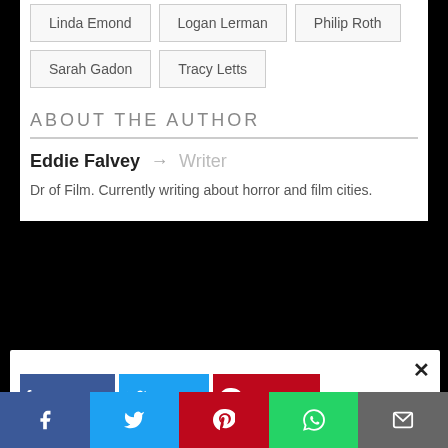Linda Emond
Logan Lerman
Philip Roth
Sarah Gadon
Tracy Letts
ABOUT THE AUTHOR
Eddie Falvey → Writer
Dr of Film. Currently writing about horror and film cities.
× Facebook Twitter Pinterest